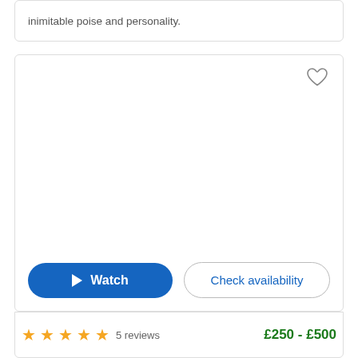inimitable poise and personality.
[Figure (other): Product/listing card with heart/favorite icon, large empty image area, Watch and Check availability buttons]
5 reviews
£250 - £500